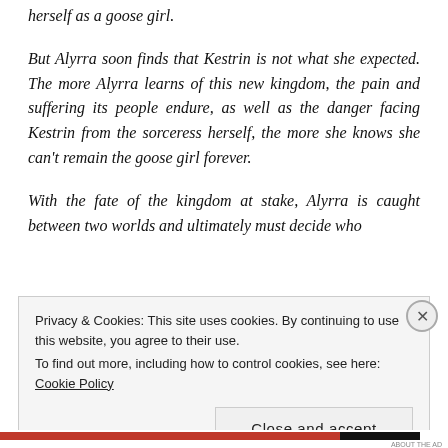herself as a goose girl.
But Alyrra soon finds that Kestrin is not what she expected. The more Alyrra learns of this new kingdom, the pain and suffering its people endure, as well as the danger facing Kestrin from the sorceress herself, the more she knows she can't remain the goose girl forever.
With the fate of the kingdom at stake, Alyrra is caught between two worlds and ultimately must decide who
Privacy & Cookies: This site uses cookies. By continuing to use this website, you agree to their use.
To find out more, including how to control cookies, see here: Cookie Policy